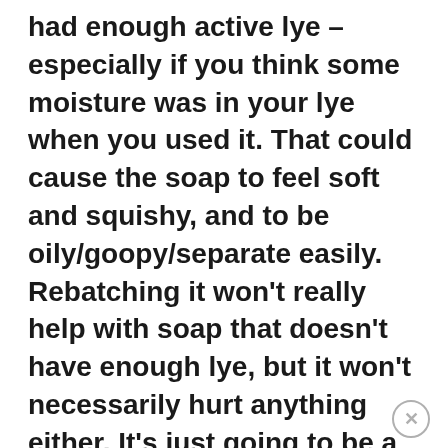had enough active lye – especially if you think some moisture was in your lye when you used it. That could cause the soap to feel soft and squishy, and to be oily/goopy/separate easily. Rebatching it won't really help with soap that doesn't have enough lye, but it won't necessarily hurt anything either. It's just going to be a softer soap in general because of not enough lye – though you can let it cure in the open air for a long (LONG) time & it has a chance of eventually hardening up! The crusty top sounds like it cooked long enough to start drying out, so probably a bit overcooked. You'll be able to tell more once the soap has cured for a week or two.